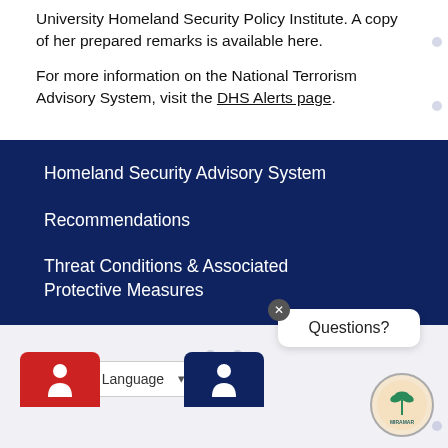University Homeland Security Policy Institute. A copy of her prepared remarks is available here.
For more information on the National Terrorism Advisory System, visit the DHS Alerts page.
Homeland Security Advisory System
Recommendations
Threat Conditions & Associated Protective Measures
Questions?
Select Language